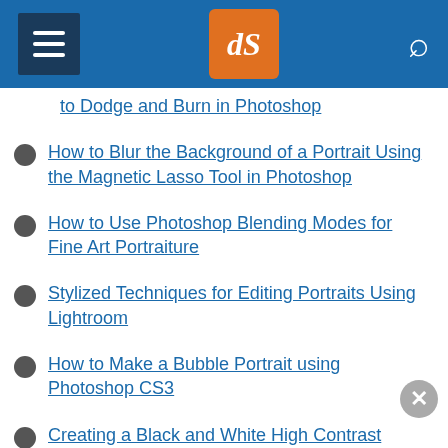dPS - Digital Photography School
to Dodge and Burn in Photoshop
How to Blur the Background of a Portrait Using the Magnetic Lasso Tool in Photoshop
How to Use Photoshop Blending Modes for Fine Art Portraiture
Stylized Techniques for Editing Portraits Using Lightroom
How to Make a Bubble Portrait using Photoshop CS3
Creating a Black and White High Contrast Portrait Edit in Lightroom